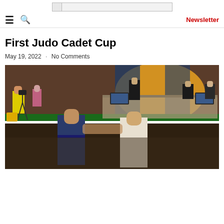Newsletter
First Judo Cadet Cup
May 19, 2022  ·  No Comments
[Figure (photo): Judo cadet competition in progress. Two young judokas in blue and white gi grappling on a mat. Officials in suits seated at tables in the background. A colorful banner/backdrop visible behind them. A person in a yellow high-vis jacket operating a camera on a tripod on the left side.]